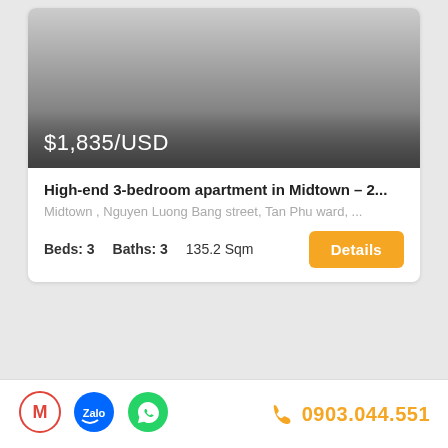[Figure (photo): Property image with gradient overlay showing price $1,835/USD]
High-end 3-bedroom apartment in Midtown – 2...
Midtown , Nguyen Luong Bang street, Tan Phu ward, ...
Beds: 3   Baths: 3   135.2 Sqm
FURNISHED   AVAILABLE
0903.044.551